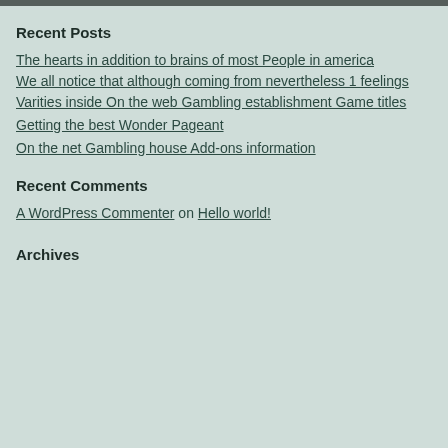Recent Posts
The hearts in addition to brains of most People in america
We all notice that although coming from nevertheless 1 feelings
Varities inside On the web Gambling establishment Game titles
Getting the best Wonder Pageant
On the net Gambling house Add-ons information
Recent Comments
A WordPress Commenter on Hello world!
Archives